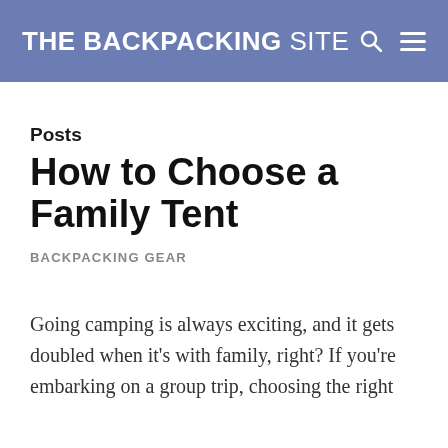THE BACKPACKING SITE
Posts
How to Choose a Family Tent
BACKPACKING GEAR
Going camping is always exciting, and it gets doubled when it's with family, right? If you're embarking on a group trip, choosing the right